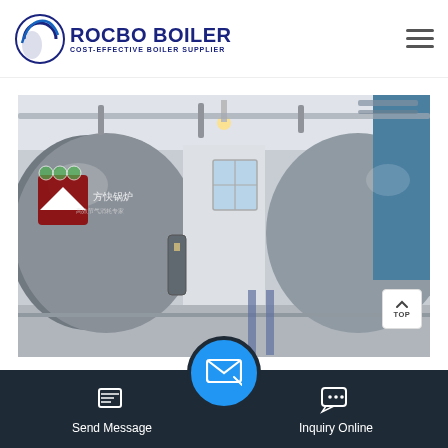[Figure (logo): Rocbo Boiler logo with circular arc icon and text 'ROCBO BOILER / COST-EFFECTIVE BOILER SUPPLIER']
[Figure (photo): Industrial boiler room with two large horizontal boilers on either side, pipes overhead, and corridor between them. Chinese text on left boiler.]
Boiler Manufacturers in India | Boiler Companies
[Figure (infographic): Bottom navigation bar with Send Message button (left), email icon center circle (blue), and Inquiry Online button (right) on dark background]